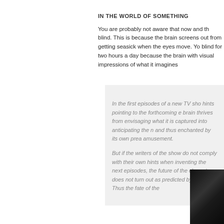IN THE WORLD OF SOMETHING
You are probably not aware that now and th blind. This is because the brain screens out from getting seasick when the eyes move. Yo blind for two hours a day because the brain with visual impressions of what it imagines
In the first episodes of a new TV sho hints pointing to the forthcoming e brain thrives from envisaging what it is captured into anticipating the n and thus enchanted by its own prea amusement.
But if the writers of the show do not comply with their own hints when inventing the next episodes, the future of the characters does not turn out as predicted by the brain. Thus the fate of the
[Figure (photo): Dark photo of a person or scene, partially visible at bottom right of the page]